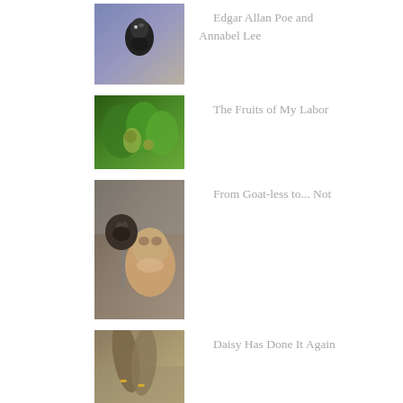[Figure (photo): A small bird being held in someone's hand, against a light purple/blue background]
Edgar Allan Poe and Annabel Lee
[Figure (photo): Close-up of green plants/peppers growing]
The Fruits of My Labor
[Figure (photo): A woman smiling in a car with a small goat next to her]
From Goat-less to... Not
[Figure (photo): Hands holding a goat's leg, outdoors]
Daisy Has Done It Again